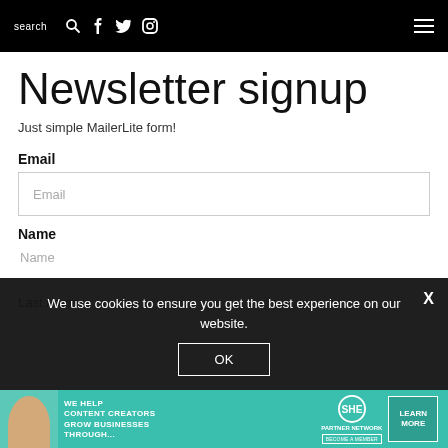search  [search icon] [facebook icon] [twitter icon] [instagram icon] [hamburger menu]
Newsletter signup
Just simple MailerLite form!
Email
Email
Name
We use cookies to ensure you get the best experience on our website.
Last name
[Figure (infographic): Advertisement banner: SHE Media Partner Network - We help content creators grow businesses through... Learn More / Become a Member]